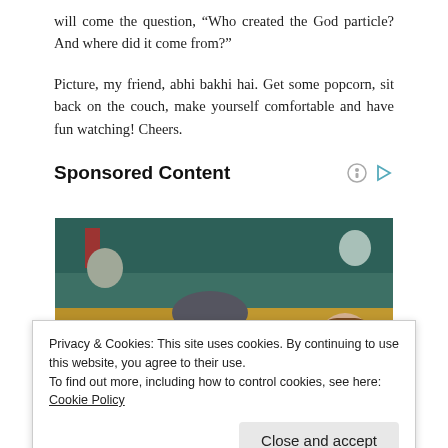will come the question, “Who created the God particle? And where did it come from?”
Picture, my friend, abhi bakhi hai. Get some popcorn, sit back on the couch, make yourself comfortable and have fun watching! Cheers.
Sponsored Content
[Figure (photo): Two people seated in stadium stands, a man with sunglasses and grey hair in the foreground and a woman with sunglasses behind him, with teal/green seats visible in the background.]
Privacy & Cookies: This site uses cookies. By continuing to use this website, you agree to their use.
To find out more, including how to control cookies, see here: Cookie Policy
Close and accept